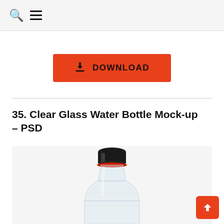Search and Menu icons
[Figure (other): Orange/red DOWNLOAD button with a download icon on the left]
35. Clear Glass Water Bottle Mock-up – PSD
[Figure (photo): Clear glass water bottle with black cap and red ring, on a light gray background, cropped showing top portion of bottle]